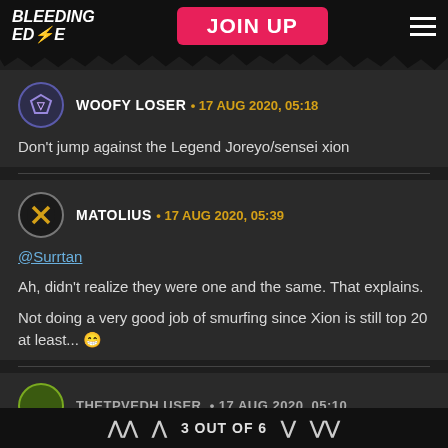BLEEDING EDGE | JOIN UP
WOOFY LOSER • 17 AUG 2020, 05:18
Don't jump against the Legend Joreyo/sensei xion
MATOLIUS • 17 AUG 2020, 05:39
@Surrtan
Ah, didn't realize they were one and the same. That explains.
Not doing a very good job of smurfing since Xion is still top 20 at least... 😁
3 OUT OF 6